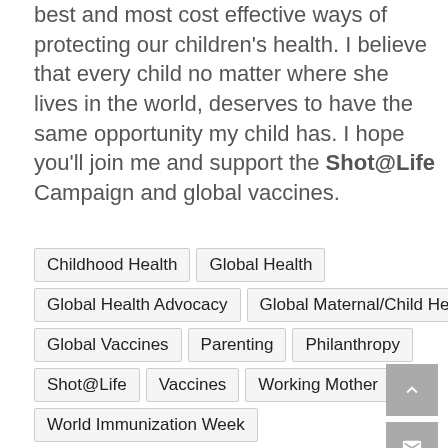best and most cost effective ways of protecting our children's health. I believe that every child no matter where she lives in the world, deserves to have the same opportunity my child has. I hope you'll join me and support the Shot@Life Campaign and global vaccines.
Childhood Health
Global Health
Global Health Advocacy
Global Maternal/Child Health
Global Vaccines
Parenting
Philanthropy
Shot@Life
Vaccines
Working Mother
World Immunization Week